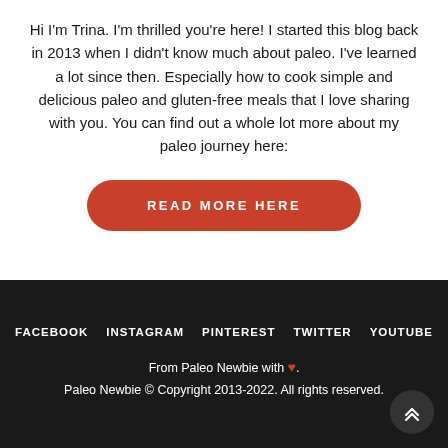Hi I'm Trina. I'm thrilled you're here! I started this blog back in 2013 when I didn't know much about paleo. I've learned a lot since then. Especially how to cook simple and delicious paleo and gluten-free meals that I love sharing with you. You can find out a whole lot more about my paleo journey here:
[Figure (other): Red rounded button with white uppercase text reading READ MORE HERE]
FACEBOOK  INSTAGRAM  PINTEREST  TWITTER  YOUTUBE
From Paleo Newbie with ♥.
Paleo Newbie © Copyright 2013-2022. All rights reserved.